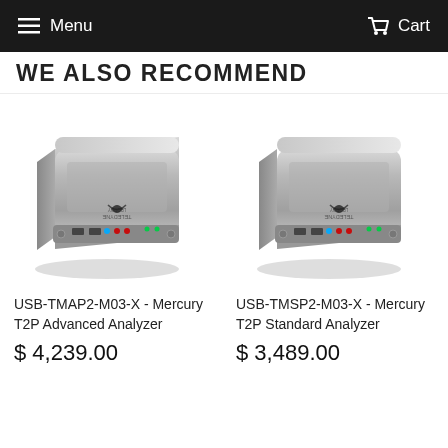Menu  Cart
WE ALSO RECOMMEND
[Figure (photo): Silver rectangular USB hardware device (Teledyne LeCroy Mercury T2P Advanced Analyzer) shown at an angle, with colored LEDs and ports on the front edge]
USB-TMAP2-M03-X - Mercury T2P Advanced Analyzer
$ 4,239.00
[Figure (photo): Silver rectangular USB hardware device (Teledyne LeCroy Mercury T2P Standard Analyzer) shown at an angle, with colored LEDs and ports on the front edge]
USB-TMSP2-M03-X - Mercury T2P Standard Analyzer
$ 3,489.00